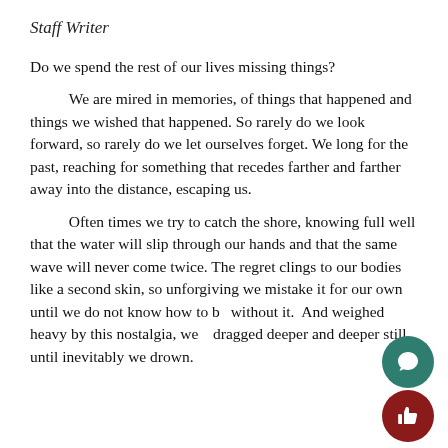Staff Writer
Do we spend the rest of our lives missing things?
We are mired in memories, of things that happened and things we wished that happened. So rarely do we look forward, so rarely do we let ourselves forget. We long for the past, reaching for something that recedes farther and farther away into the distance, escaping us.
Often times we try to catch the shore, knowing full well that the water will slip through our hands and that the same wave will never come twice. The regret clings to our bodies like a second skin, so unforgiving we mistake it for our own until we do not know how to be without it.  And weighed heavy by this nostalgia, we dragged deeper and deeper still, until inevitably we drown.